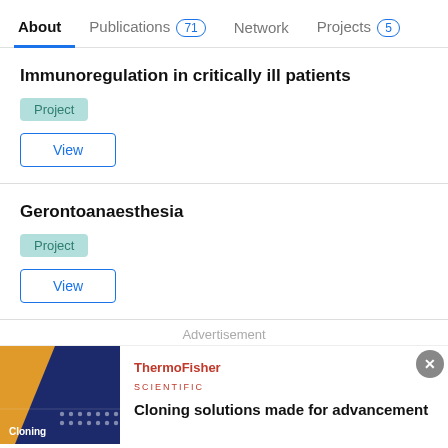About | Publications 71 | Network | Projects 5
Immunoregulation in critically ill patients
Project
View
Gerontoanaesthesia
Project
View
Advertisement
[Figure (other): Thermo Fisher Scientific advertisement banner with Cloning image on left and text 'Cloning solutions made for advancement' on right]
Cloning solutions made for advancement